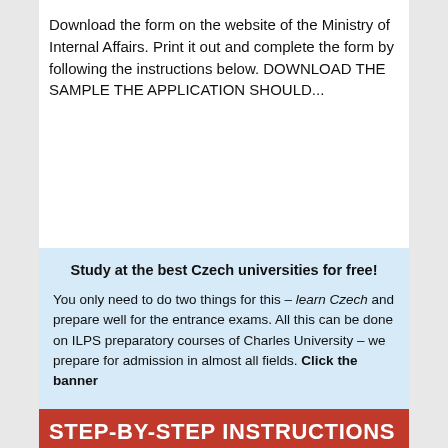Download the form on the website of the Ministry of Internal Affairs. Print it out and complete the form by following the instructions below. DOWNLOAD THE SAMPLE THE APPLICATION SHOULD...
Study at the best Czech universities for free!
You only need to do two things for this – learn Czech and prepare well for the entrance exams. All this can be done on ILPS preparatory courses of Charles University – we prepare for admission in almost all fields. Click the banner
STEP-BY-STEP INSTRUCTIONS
[Figure (illustration): Row of country flag emoji icons: Saudi Arabia, China, United Kingdom, France, Japan, South Korea, Spain]